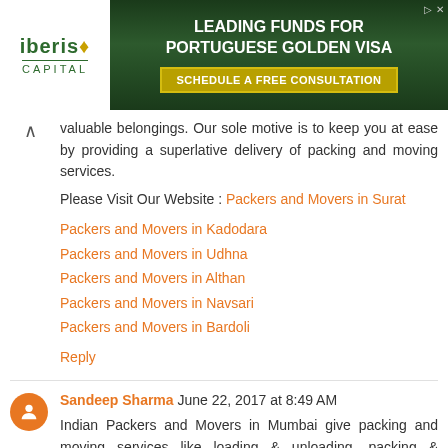[Figure (other): Iberis Capital advertisement banner for Portuguese Golden Visa with 'Schedule a Free Consultation' button]
valuable belongings. Our sole motive is to keep you at ease by providing a superlative delivery of packing and moving services.
Please Visit Our Website : Packers and Movers in Surat
Packers and Movers in Kadodara
Packers and Movers in Udhna
Packers and Movers in Althan
Packers and Movers in Navsari
Packers and Movers in Bardoli
Reply
Sandeep Sharma June 22, 2017 at 8:49 AM
Indian Packers and Movers in Mumbai give packing and moving services like loading & unloading, packing & unpacking, car carriers, transportation, domestic &local